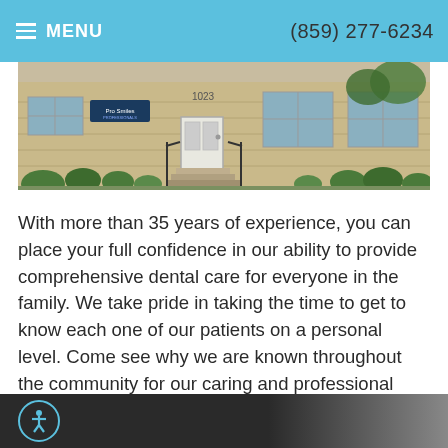≡ MENU   (859) 277-6234
[Figure (photo): Exterior photo of a dental office building with stone facade, white door, steps with railings, and landscaped bushes and shrubs in front.]
With more than 35 years of experience, you can place your full confidence in our ability to provide comprehensive dental care for everyone in the family. We take pride in taking the time to get to know each one of our patients on a personal level. Come see why we are known throughout the community for our caring and professional work. Call us to schedule an appointment today!
accessibility icon